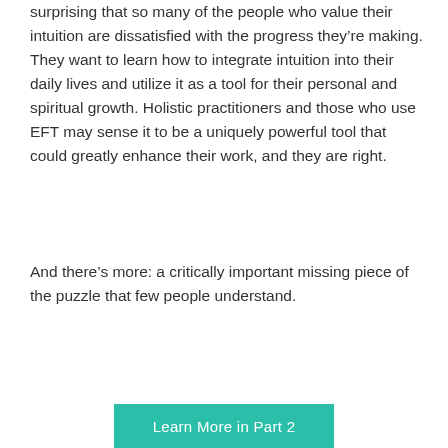surprising that so many of the people who value their intuition are dissatisfied with the progress they’re making. They want to learn how to integrate intuition into their daily lives and utilize it as a tool for their personal and spiritual growth. Holistic practitioners and those who use EFT may sense it to be a uniquely powerful tool that could greatly enhance their work, and they are right.
And there’s more: a critically important missing piece of the puzzle that few people understand.
[Figure (other): Teal/green button with white text reading 'Learn More in Part 2']